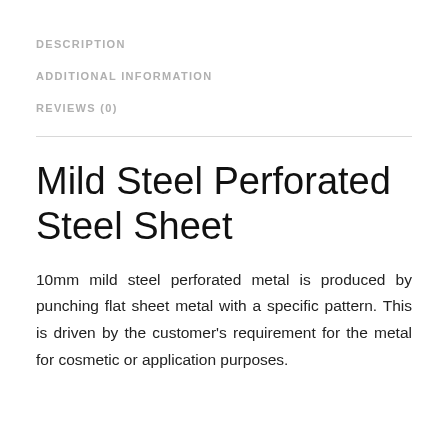DESCRIPTION
ADDITIONAL INFORMATION
REVIEWS (0)
Mild Steel Perforated Steel Sheet
10mm mild steel perforated metal is produced by punching flat sheet metal with a specific pattern. This is driven by the customer's requirement for the metal for cosmetic or application purposes.